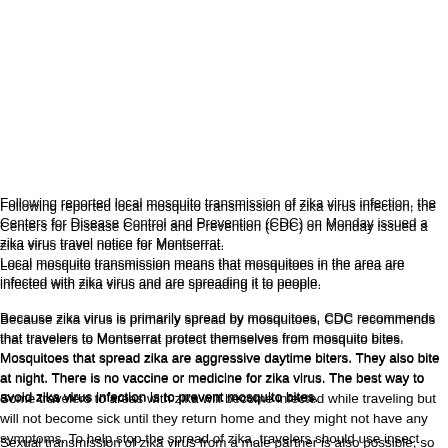Following reported local mosquito transmission of zika virus infection, the Centers for Disease Control and Prevention (CDC) on Monday issued a zika virus travel notice for Montserrat.
Local mosquito transmission means that mosquitoes in the area are infected with zika virus and are spreading it to people.
Because zika virus is primarily spread by mosquitoes, CDC recommends that travelers to Montserrat protect themselves from mosquito bites. Mosquitoes that spread zika are aggressive daytime biters. They also bite at night. There is no vaccine or medicine for zika virus. The best way to avoid zika virus infection is to prevent mosquito bites.
Some travelers to areas with zika will become infected while traveling but will not become sick until they return home and they might not have any symptoms. To help stop the spread of zika, travelers should use insect repellent for three weeks after travel to prevent mosquito bites.
Sexual transmission of zika virus from a male partner is also possible, so travelers ar